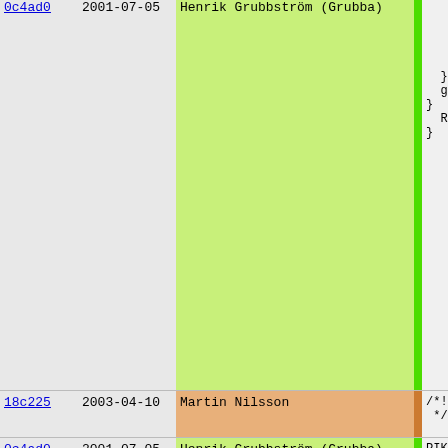| hash | date | author | code |
| --- | --- | --- | --- |
| 0c4ad0 | 2001-07-05 | Henrik Grubbström (Grubba) | gene
    INC_
    pike
    INC_
    s=tr
  }
  generi
}
RETURN e
} |
| 18c225 | 2003-04-10 | Martin Nilsson | /*! @decl
 */ |
| 0c4ad0 | 2001-07-05 | Henrik Grubbström (Grubba) | PIKEFUN a
{
  if (THI
    ref_pu
    ref_pu
    f_aggr
  } else 
    push_i
  }
} |
| 18c225 | 2003-04-10 | Martin Nilsson | /*! @decl
 */ |
| 0c4ad0 | 2001-07-05 | Henrik Grubbström (Grubba) | PIKEFUN vo
{ |